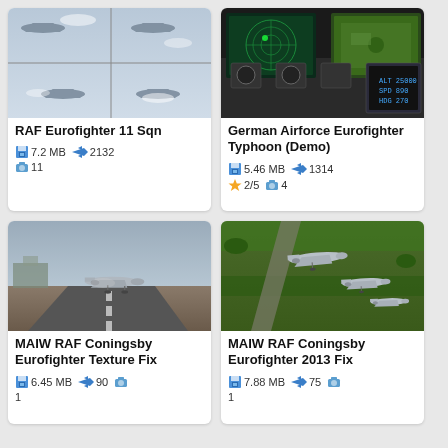[Figure (screenshot): RAF Eurofighter formation flight screenshot grid]
RAF Eurofighter 11 Sqn
7.2 MB  2132  11
[Figure (screenshot): German Airforce Eurofighter Typhoon cockpit view screenshot]
German Airforce Eurofighter Typhoon (Demo)
5.46 MB  1314  2/5  4
[Figure (screenshot): MAIW RAF Coningsby Eurofighter taking off from runway]
MAIW RAF Coningsby Eurofighter Texture Fix
6.45 MB  90  1
[Figure (screenshot): MAIW RAF Coningsby Eurofighter 2013 aerial shot]
MAIW RAF Coningsby Eurofighter 2013 Fix
7.88 MB  75  1